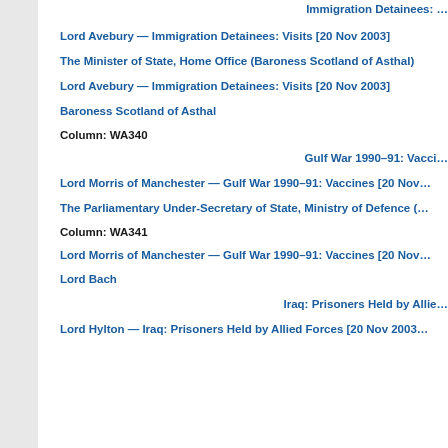Immigration Detainees: …
Lord Avebury — Immigration Detainees: Visits [20 Nov 2003]
The Minister of State, Home Office (Baroness Scotland of Asthal)
Lord Avebury — Immigration Detainees: Visits [20 Nov 2003]
Baroness Scotland of Asthal
Column: WA340
Gulf War 1990–91: Vacci…
Lord Morris of Manchester — Gulf War 1990–91: Vaccines [20 Nov…
The Parliamentary Under-Secretary of State, Ministry of Defence (…
Column: WA341
Lord Morris of Manchester — Gulf War 1990–91: Vaccines [20 Nov…
Lord Bach
Iraq: Prisoners Held by Allie…
Lord Hylton — Iraq: Prisoners Held by Allied Forces [20 Nov 2003…